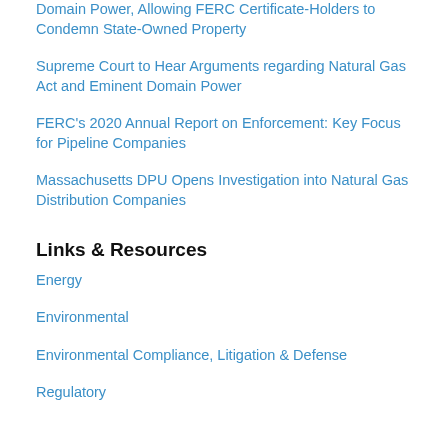Domain Power, Allowing FERC Certificate-Holders to Condemn State-Owned Property
Supreme Court to Hear Arguments regarding Natural Gas Act and Eminent Domain Power
FERC's 2020 Annual Report on Enforcement: Key Focus for Pipeline Companies
Massachusetts DPU Opens Investigation into Natural Gas Distribution Companies
Links & Resources
Energy
Environmental
Environmental Compliance, Litigation & Defense
Regulatory